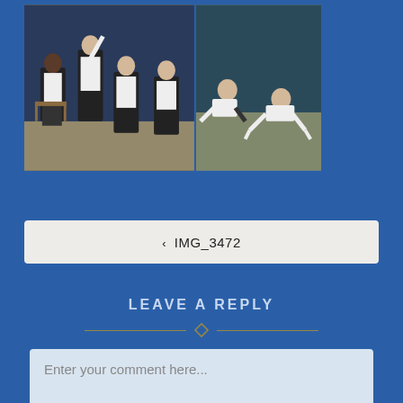[Figure (photo): Two theater/stage performance photos side by side. Left photo shows several men in white shirts and dark suits seated on stage. Right photo shows men in white shirts crouching or leaning down on the stage floor.]
< IMG_3472
LEAVE A REPLY
Enter your comment here...